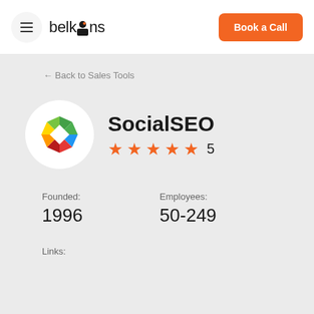belkins | Book a Call
Back to Sales Tools
[Figure (logo): SocialSEO colorful geometric logo — a multi-colored angular shape with red, green, blue, yellow, orange segments forming a pinwheel/diamond shape on white circular background]
SocialSEO
★★★★★ 5
Founded: 1996
Employees: 50-249
Links: